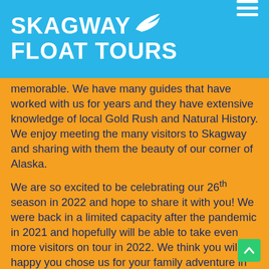Skagway Float Tours
memorable. We have many guides that have worked with us for years and they have extensive knowledge of local Gold Rush and Natural History. We enjoy meeting the many visitors to Skagway and sharing with them the beauty of our corner of Alaska.
We are so excited to be celebrating our 26th season in 2022 and hope to share it with you! We were back in a limited capacity after the pandemic in 2021 and hopefully will be able to take even more visitors on tour in 2022. We think you will be happy you chose us for your family adventure in Skagway.  Thank you and we appreciate your business!